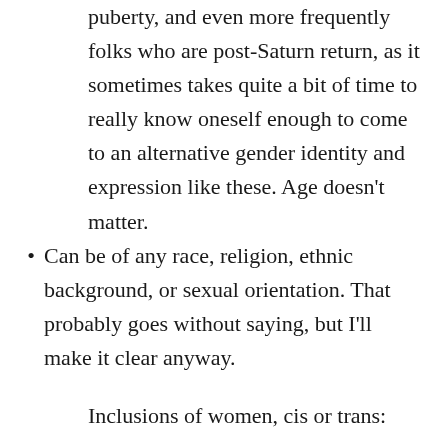puberty, and even more frequently folks who are post-Saturn return, as it sometimes takes quite a bit of time to really know oneself enough to come to an alternative gender identity and expression like these. Age doesn’t matter.
Can be of any race, religion, ethnic background, or sexual orientation. That probably goes without saying, but I’ll make it clear anyway.
Inclusions of women, cis or trans: